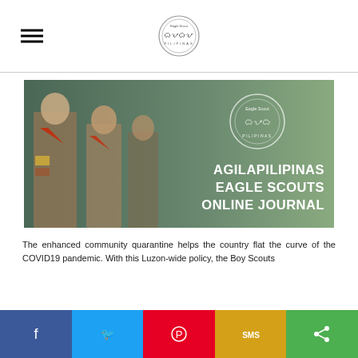Eagle Scout Pilipinas logo and navigation
[Figure (photo): Eagle Scouts in uniform standing at attention, with AGILAPILIPINAS EAGLE SCOUTS ONLINE JOURNAL text overlay and Eagle Scout Pilipinas circular logo]
The enhanced community quarantine helps the country flat the curve of the COVID19 pandemic. With this Luzon-wide policy, the Boy Scouts
Social share bar: Facebook, Twitter, Pinterest, SMS, Share